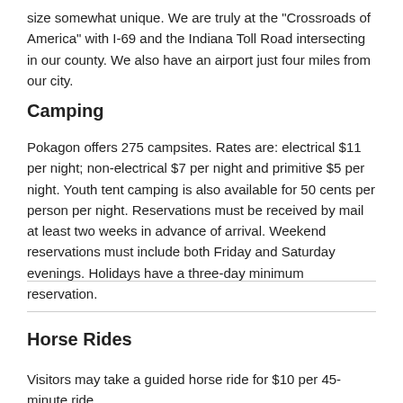size somewhat unique. We are truly at the "Crossroads of America" with I-69 and the Indiana Toll Road intersecting in our county. We also have an airport just four miles from our city.
Camping
Pokagon offers 275 campsites. Rates are: electrical $11 per night; non-electrical $7 per night and primitive $5 per night. Youth tent camping is also available for 50 cents per person per night. Reservations must be received by mail at least two weeks in advance of arrival. Weekend reservations must include both Friday and Saturday evenings. Holidays have a three-day minimum reservation.
Horse Rides
Visitors may take a guided horse ride for $10 per 45-minute ride.